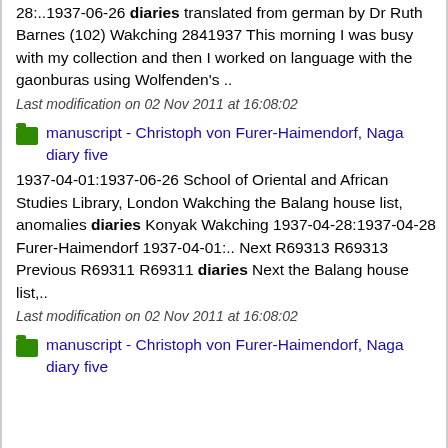28:..1937-06-26 diaries translated from german by Dr Ruth Barnes (102) Wakching 2841937 This morning I was busy with my collection and then I worked on language with the gaonburas using Wolfenden's ..
Last modification on 02 Nov 2011 at 16:08:02
manuscript - Christoph von Furer-Haimendorf, Naga diary five
1937-04-01:1937-06-26 School of Oriental and African Studies Library, London Wakching the Balang house list, anomalies diaries Konyak Wakching 1937-04-28:1937-04-28 Furer-Haimendorf 1937-04-01:.. Next R69313 R69313 Previous R69311 R69311 diaries Next the Balang house list,..
Last modification on 02 Nov 2011 at 16:08:02
manuscript - Christoph von Furer-Haimendorf, Naga diary five